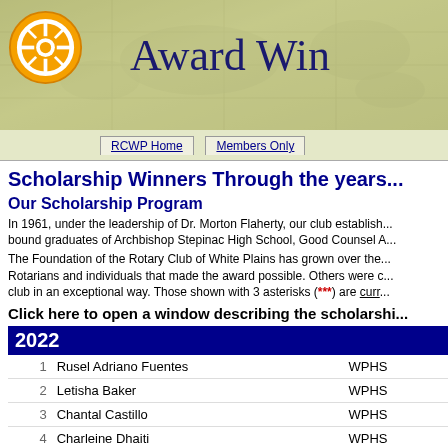Award Win...
RCWP Home | Members Only | ...
Scholarship Winners Through the years...
Our Scholarship Program
In 1961, under the leadership of Dr. Morton Flaherty, our club establish... bound graduates of Archbishop Stepinac High School, Good Counsel A...
The Foundation of the Rotary Club of White Plains has grown over the... Rotarians and individuals that made the award possible. Others were c... club in an exceptional way. Those shown with 3 asterisks (***) are curr...
Click here to open a window describing the scholarship...
| # | Name | School |
| --- | --- | --- |
| 1 | Rusel Adriano Fuentes | WPHS |
| 2 | Letisha Baker | WPHS |
| 3 | Chantal Castillo | WPHS |
| 4 | Charleine Dhaiti | WPHS |
| 5 | Mateo Gonzalez | WPHS |
| 6 | Britney Gramajo Barrios | WPHS |
| 7 | Erin Hogan | WPHS |